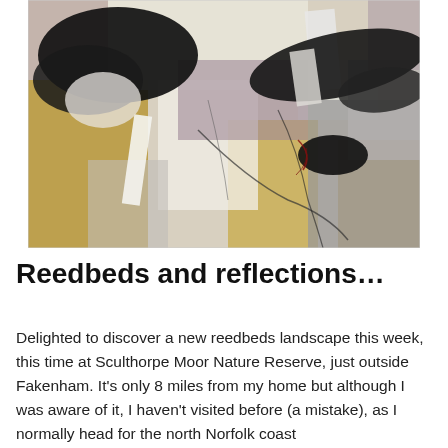[Figure (illustration): Abstract painting with brushstrokes of black, white, ochre/gold, grey, and muted purple/mauve tones. The composition features large sweeping dark marks, layered paint textures, and gestural lines suggesting a landscape or natural forms.]
Reedbeds and reflections…
Delighted to discover a new reedbeds landscape this week, this time at Sculthorpe Moor Nature Reserve, just outside Fakenham. It's only 8 miles from my home but although I was aware of it, I haven't visited before (a mistake), as I normally head for the north Norfolk coast